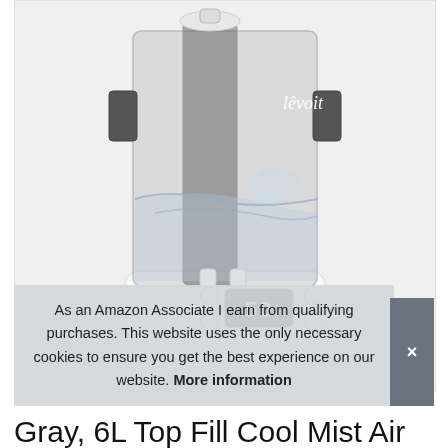[Figure (photo): Levoit 6L top-fill cool mist humidifier in white/gray with transparent water tank showing water inside, digital display showing 50, and control buttons. Levoit logo visible in white on the tank.]
As an Amazon Associate I earn from qualifying purchases. This website uses the only necessary cookies to ensure you get the best experience on our website. More information
Gray, 6L Top Fill Cool Mist Air